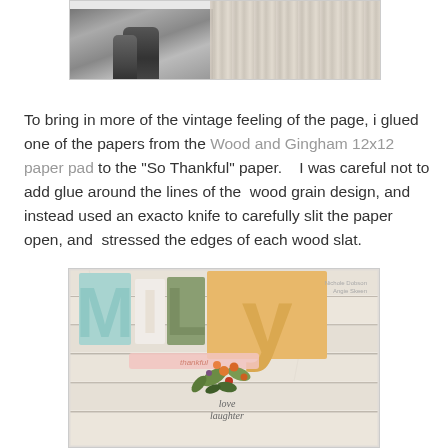[Figure (photo): Black and white photo of a couple on the left side, with a weathered wood texture panel on the right side, shown at the top of the page]
To bring in more of the vintage feeling of the page, i glued one of the papers from the Wood and Gingham 12x12 paper pad to the "So Thankful" paper.    I was careful not to add glue around the lines of the  wood grain design, and instead used an exacto knife to carefully slit the paper open, and  stressed the edges of each wood slat.
[Figure (photo): Scrapbook layout photo showing large colorful letters spelling 'family' on a whitewashed wood slat background, with floral embellishments and text reading 'love laughter' in the center]